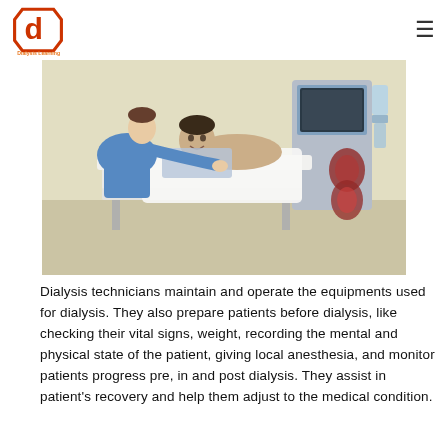Dialysis Learning
[Figure (photo): A dialysis technician in blue scrubs attending to a male patient lying in a medical chair, with a dialysis machine visible in the background.]
Dialysis technicians maintain and operate the equipments used for dialysis. They also prepare patients before dialysis, like checking their vital signs, weight, recording the mental and physical state of the patient, giving local anesthesia, and monitor patients progress pre, in and post dialysis. They assist in patient's recovery and help them adjust to the medical condition.